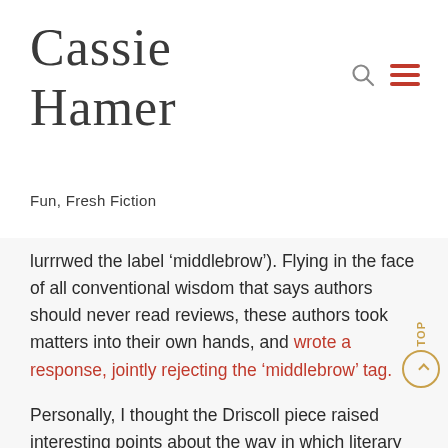Cassie Hamer
Fun, Fresh Fiction
lurrrwed the label ‘middlebrow’). Flying in the face of all conventional wisdom that says authors should never read reviews, these authors took matters into their own hands, and wrote a response, jointly rejecting the ‘middlebrow’ tag.
Personally, I thought the Driscoll piece raised interesting points about the way in which literary fiction, written by women and focusing on domestic issues, is marketed in a commercial way to a mainstream audience, a factor which may then affect the work’s critical reception. I can also appreciate the author’s dismay at the middlebrow tag,